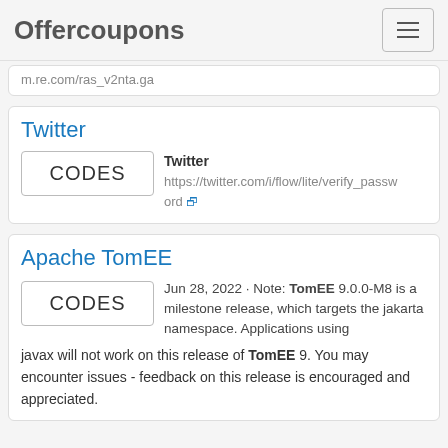Offercoupons
m.re.com/ras_v2nta.ga
Twitter
Twitter
https://twitter.com/i/flow/lite/verify_password
Apache TomEE
Jun 28, 2022 · Note: TomEE 9.0.0-M8 is a milestone release, which targets the jakarta namespace. Applications using javax will not work on this release of TomEE 9. You may encounter issues - feedback on this release is encouraged and appreciated.